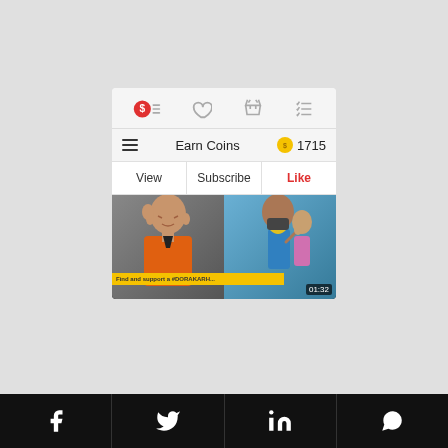[Figure (screenshot): Mobile app screenshot showing an 'Earn Coins' screen with icon navigation bar, tab options (View, Subscribe, Like), a video thumbnail of people with 01:32 timestamp, and yellow text bar saying 'Find and support a #DORAKARH...']
Social sharing bar with Facebook, Twitter, LinkedIn, WhatsApp icons